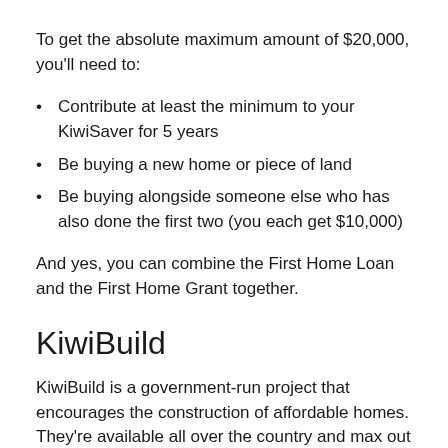To get the absolute maximum amount of $20,000, you'll need to:
Contribute at least the minimum to your KiwiSaver for 5 years
Be buying a new home or piece of land
Be buying alongside someone else who has also done the first two (you each get $10,000)
And yes, you can combine the First Home Loan and the First Home Grant together.
KiwiBuild
KiwiBuild is a government-run project that encourages the construction of affordable homes. They're available all over the country and max out